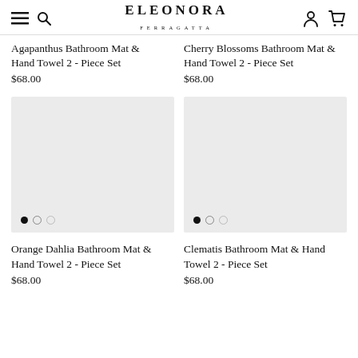ELEONORA FERRAGATTA
Agapanthus Bathroom Mat & Hand Towel 2 - Piece Set
$68.00
Cherry Blossoms Bathroom Mat & Hand Towel 2 - Piece Set
$68.00
[Figure (photo): Product image placeholder for Orange Dahlia Bathroom Mat & Hand Towel 2 - Piece Set, light gray rectangle with carousel dots]
[Figure (photo): Product image placeholder for Clematis Bathroom Mat & Hand Towel 2 - Piece Set, light gray rectangle with carousel dots]
Orange Dahlia Bathroom Mat & Hand Towel 2 - Piece Set
$68.00
Clematis Bathroom Mat & Hand Towel 2 - Piece Set
$68.00